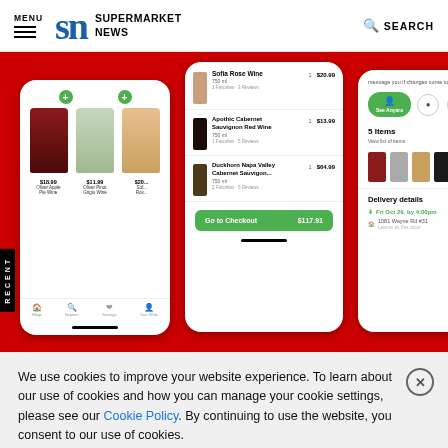MENU | SN SUPERMARKET NEWS | SEARCH
[Figure (screenshot): Supermarket News website screenshot showing a grocery app with wine product listings, shopping cart, and delivery details on a red background. Three mobile phone mockups display the app interface.]
We use cookies to improve your website experience. To learn about our use of cookies and how you can manage your cookie settings, please see our Cookie Policy. By continuing to use the website, you consent to our use of cookies.